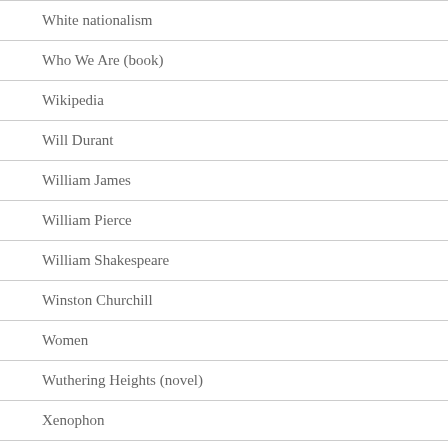White nationalism
Who We Are (book)
Wikipedia
Will Durant
William James
William Pierce
William Shakespeare
Winston Churchill
Women
Wuthering Heights (novel)
Xenophon